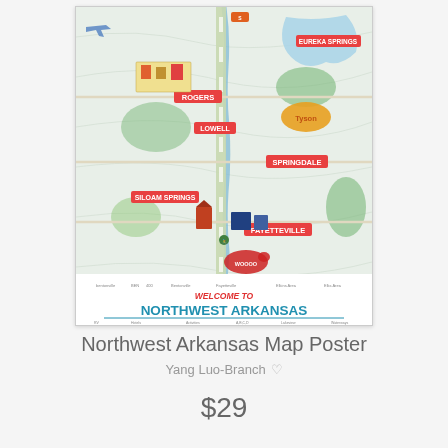[Figure (map): Illustrated map of Northwest Arkansas showing cities including Rogers, Lowell, Springdale, Fayetteville, Siloam Springs, Eureka Springs, with illustrated landmarks, roads, and natural features. Bottom of map reads 'WELCOME TO NORTHWEST ARKANSAS' with legend information.]
Northwest Arkansas Map Poster
Yang Luo-Branch
$29